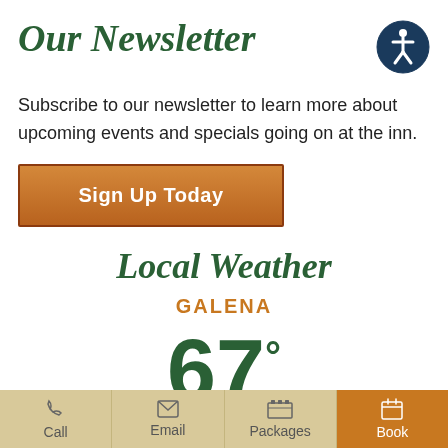Our Newsletter
[Figure (illustration): Accessibility icon: a dark blue circle with a white stick figure person outline inside]
Subscribe to our newsletter to learn more about upcoming events and specials going on at the inn.
Sign Up Today
Local Weather
GALENA
67°
Scattered Clouds
97% Humidity
Call   Email   Packages   Book